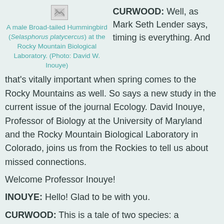[Figure (photo): Broken/missing image placeholder for a male Broad-tailed Hummingbird photo]
A male Broad-tailed Hummingbird (Selasphorus platycercus) at the Rocky Mountain Biological Laboratory. (Photo: David W. Inouye)
CURWOOD: Well, as Mark Seth Lender says, timing is everything. And that's vitally important when spring comes to the Rocky Mountains as well. So says a new study in the current issue of the journal Ecology. David Inouye, Professor of Biology at the University of Maryland and the Rocky Mountain Biological Laboratory in Colorado, joins us from the Rockies to tell us about missed connections.
Welcome Professor Inouye!
INOUYE: Hello! Glad to be with you.
CURWOOD: This is a tale of two species: a hummingbird and a flower. Could you describe them for us please.